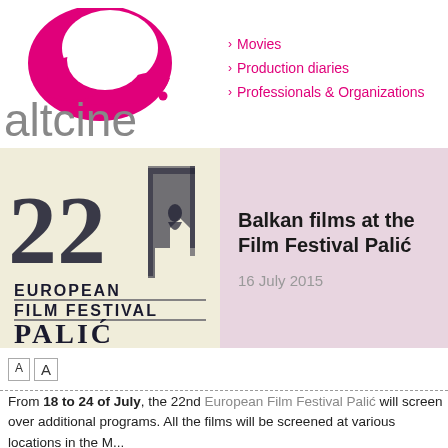[Figure (logo): altcine logo with pink swirl graphic and grey 'altcine' text]
Movies
Production diaries
Professionals & Organizations
[Figure (logo): 22nd European Film Festival Palić logo with dark blue text and illustration on cream background]
Balkan films at the Film Festival Palić
16 July 2015
From 18 to 24 of July, the 22nd European Film Festival Palić will screen over additional programs. All the films will be screened at various locations in the N...